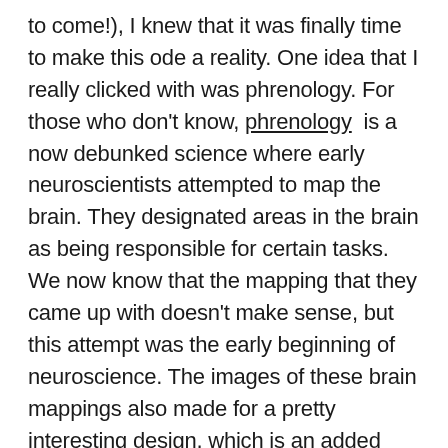to come!), I knew that it was finally time to make this ode a reality. One idea that I really clicked with was phrenology. For those who don't know, phrenology is a now debunked science where early neuroscientists attempted to map the brain. They designated areas in the brain as being responsible for certain tasks. We now know that the mapping that they came up with doesn't make sense, but this attempt was the early beginning of neuroscience. The images of these brain mappings also made for a pretty interesting design, which is an added bonus. For the labels, I decided to make up my own and have a mix of both “positive” and “negative” attributes. My thinking in doing this is to show that each individual is made up of several parts (shout out to IFS thinking!), each capable of both good and bad. As I’ve come into the therapist that I am today, I truly believe that each of us is capable of both amazing things and horrible, despicable things. It’s a mixture of our biology, environment, and